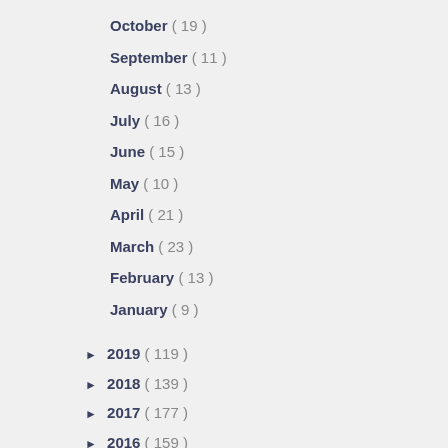October ( 19 )
September ( 11 )
August ( 13 )
July ( 16 )
June ( 15 )
May ( 10 )
April ( 21 )
March ( 23 )
February ( 13 )
January ( 9 )
► 2019 ( 119 )
► 2018 ( 139 )
► 2017 ( 177 )
► 2016 ( 159 )
► 2015 ( 281 )